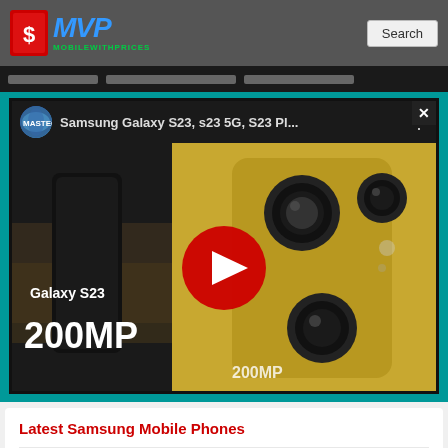MVP MobileWithPrices
[Figure (screenshot): YouTube video thumbnail showing Samsung Galaxy S23 with 200MP camera, title: Samsung Galaxy S23, s23 5G, S23 Pl..., with red play button overlay]
Latest Samsung Mobile Phones
Samsung Galaxy Buddy 3
Samsung Galaxy Tab Active 4 Pro